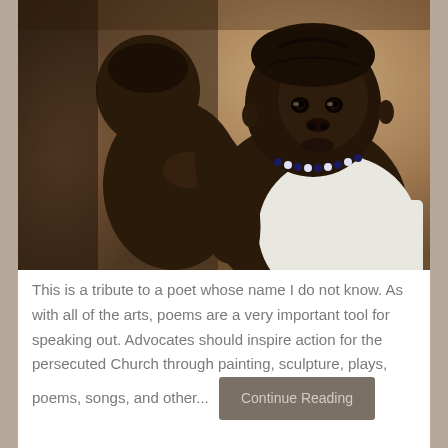[Figure (photo): A young African child holding a baby, looking directly at the camera. The child wears a beaded necklace and a white dress. Warm, softly blurred background.]
This is a tribute to a poet whose name I do not know. As with all of the arts, poems are a very important tool for speaking out. Advocates should inspire action for the persecuted Church through painting, sculpture, plays, poems, songs, and other... Continue Reading